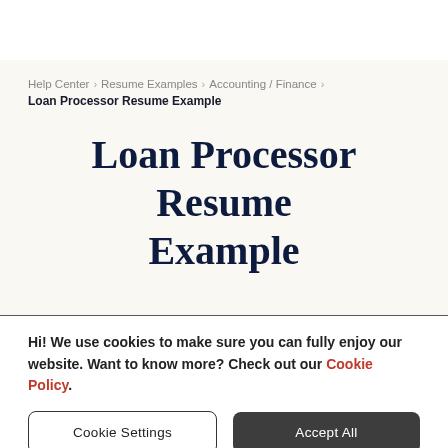Help Center > Resume Examples > Accounting / Finance > Loan Processor Resume Example
Loan Processor Resume Example
Hi! We use cookies to make sure you can fully enjoy our website. Want to know more? Check out our Cookie Policy.
Cookie Settings
Accept All